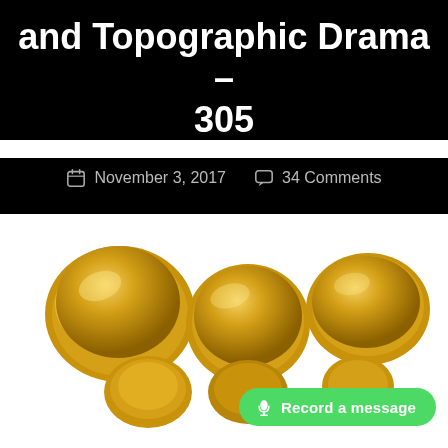and Topographic Drama – 305
November 3, 2017  34 Comments
[Figure (illustration): 3D gold metallic 'yes' logo text in bubbly style against white background, partially cropped. A green 'Record a message' button overlay is visible at bottom right.]